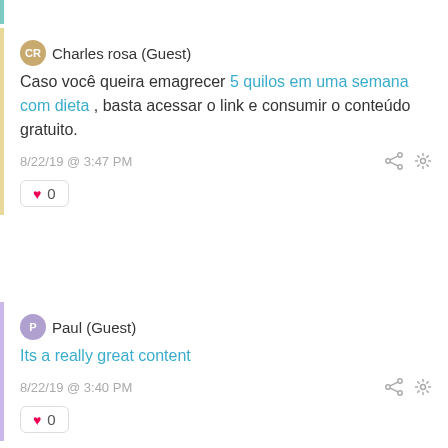[partial comment top, cropped]
Charles rosa (Guest)
Caso você queira emagrecer 5 quilos em uma semana com dieta , basta acessar o link e consumir o conteúdo gratuito.
8/22/19 @ 3:47 PM
♥ 0
Paul (Guest)
Its a really great content
8/22/19 @ 3:40 PM
[partial like button, cropped]